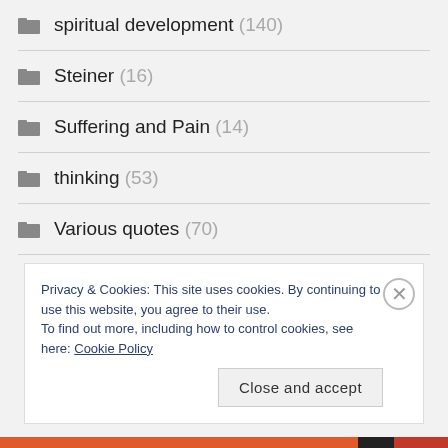spiritual development (140)
Steiner (16)
Suffering and Pain (14)
thinking (53)
Various quotes (70)
Privacy & Cookies: This site uses cookies. By continuing to use this website, you agree to their use.
To find out more, including how to control cookies, see here: Cookie Policy